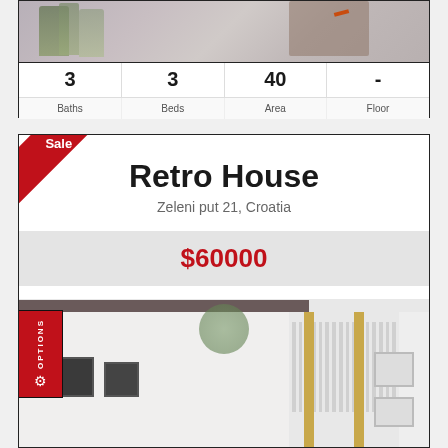[Figure (photo): Exterior photo of a property partially visible at top]
| Baths | Beds | Area | Floor |
| --- | --- | --- | --- |
| 3 | 3 | 40 | - |
[Figure (photo): Red Sale banner badge on top-left corner of listing card]
Retro House
Zeleni put 21, Croatia
$60000
[Figure (photo): Photo of a white modern house exterior with balcony railings and windows]